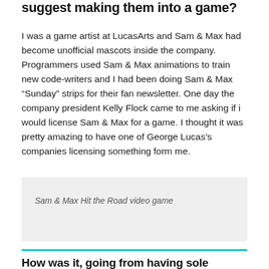suggest making them into a game?
I was a game artist at LucasArts and Sam & Max had become unofficial mascots inside the company. Programmers used Sam & Max animations to train new code-writers and I had been doing Sam & Max “Sunday” strips for their fan newsletter. One day the company president Kelly Flock came to me asking if i would license Sam & Max for a game. I thought it was pretty amazing to have one of George Lucas’s companies licensing something form me.
[Figure (photo): Sam & Max Hit the Road video game image placeholder]
Sam & Max Hit the Road video game
How was it, going from having sole control over a comic strip to then having a whole